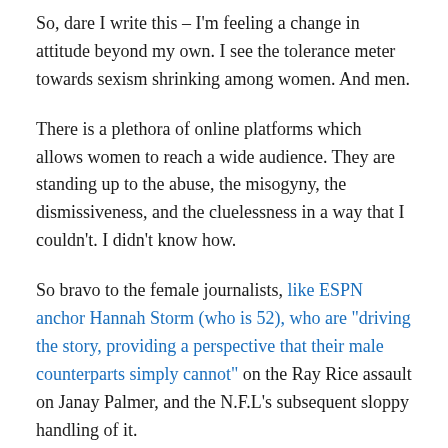So, dare I write this – I'm feeling a change in attitude beyond my own. I see the tolerance meter towards sexism shrinking among women. And men.
There is a plethora of online platforms which allows women to reach a wide audience. They are standing up to the abuse, the misogyny, the dismissiveness, and the cluelessness in a way that I couldn't. I didn't know how.
So bravo to the female journalists, like ESPN anchor Hannah Storm (who is 52), who are "driving the story, providing a perspective that their male counterparts simply cannot" on the Ray Rice assault on Janay Palmer, and the N.F.L's subsequent sloppy handling of it.
To quote Jonathan Mahler, in his article about Storm for The New York Times: "The proliferation of female...